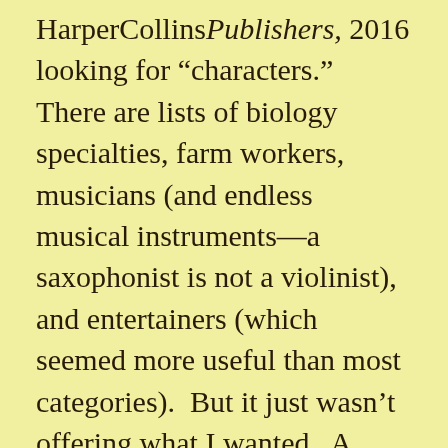HarperCollinsPublishers, 2016 looking for “characters.”  There are lists of biology specialties, farm workers, musicians (and endless musical instruments—a saxophonist is not a violinist), and entertainers (which seemed more useful than most categories).  But it just wasn’t offering what I wanted.  A character’s employment is